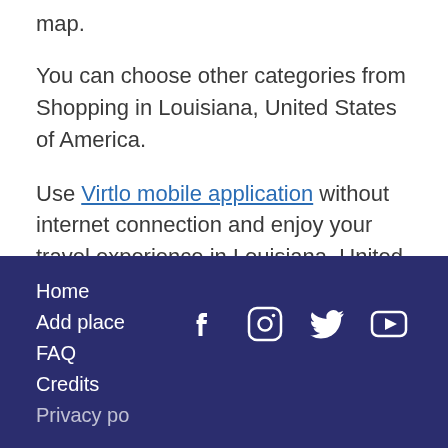map.
You can choose other categories from Shopping in Louisiana, United States of America.
Use Virtlo mobile application without internet connection and enjoy your travel experience in Louisiana, United States of America to find nearby Shoes or other places from Shopping.
Home
Add place
FAQ
Credits
Privacy policy